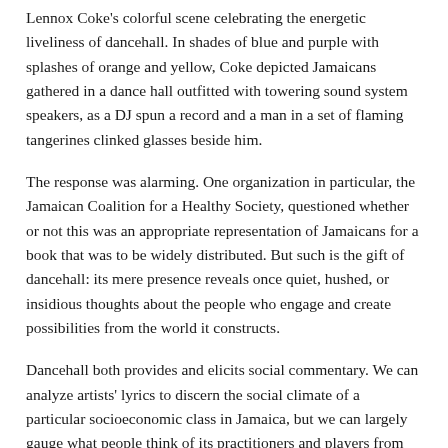Lennox Coke's colorful scene celebrating the energetic liveliness of dancehall. In shades of blue and purple with splashes of orange and yellow, Coke depicted Jamaicans gathered in a dance hall outfitted with towering sound system speakers, as a DJ spun a record and a man in a set of flaming tangerines clinked glasses beside him.
The response was alarming. One organization in particular, the Jamaican Coalition for a Healthy Society, questioned whether or not this was an appropriate representation of Jamaicans for a book that was to be widely distributed. But such is the gift of dancehall: its mere presence reveals once quiet, hushed, or insidious thoughts about the people who engage and create possibilities from the world it constructs.
Dancehall both provides and elicits social commentary. We can analyze artists' lyrics to discern the social climate of a particular socioeconomic class in Jamaica, but we can largely gauge what people think of its practitioners and players from their own